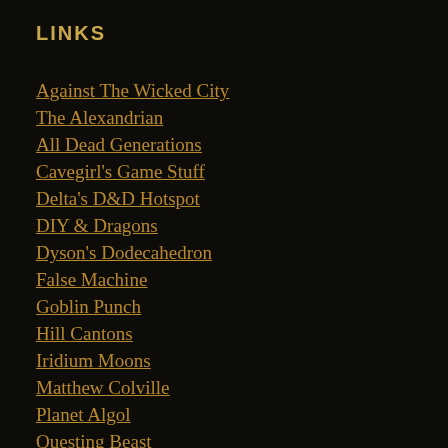LINKS
Against The Wicked City
The Alexandrian
All Dead Generations
Cavegirl's Game Stuff
Delta's D&D Hotspot
DIY & Dragons
Dyson's Dodecahedron
False Machine
Goblin Punch
Hill Cantons
Iridium Moons
Matthew Colville
Planet Algol
Questing Beast